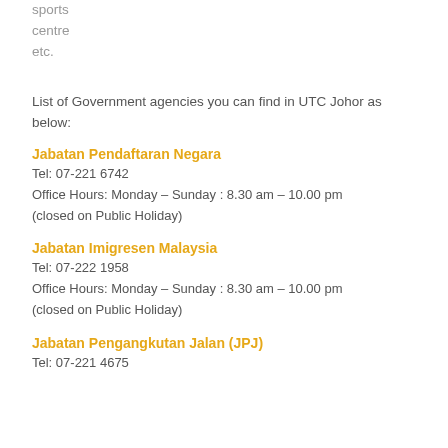sports
centre
etc.
List of Government agencies you can find in UTC Johor as below:
Jabatan Pendaftaran Negara
Tel: 07-221 6742
Office Hours: Monday – Sunday : 8.30 am – 10.00 pm
(closed on Public Holiday)
Jabatan Imigresen Malaysia
Tel: 07-222 1958
Office Hours: Monday – Sunday : 8.30 am – 10.00 pm
(closed on Public Holiday)
Jabatan Pengangkutan Jalan (JPJ)
Tel: 07-221 4675